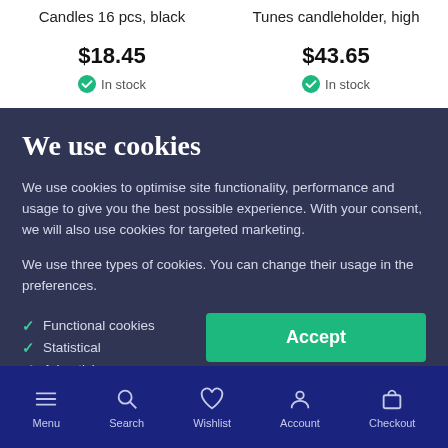Candles 16 pcs, black
$18.45
In stock
Tunes candleholder, high
$43.65
In stock
We use cookies
We use cookies to optimise site functionality, performance and usage to give you the best possible experience. With your consent, we will also use cookies for targeted marketing.
We use three types of cookies. You can change their usage in the preferences.
Functional cookies
Statistical
Advertising
Accept
More information
Menu  Search  Wishlist  Account  Checkout